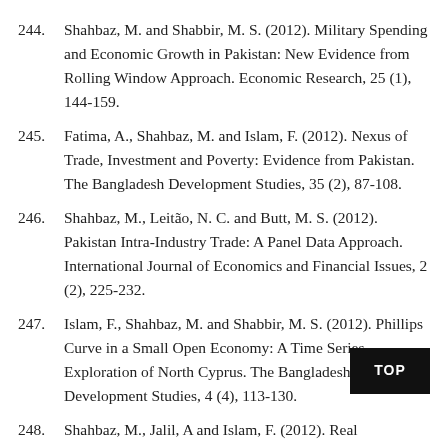244. Shahbaz, M. and Shabbir, M. S. (2012). Military Spending and Economic Growth in Pakistan: New Evidence from Rolling Window Approach. Economic Research, 25 (1), 144-159.
245. Fatima, A., Shahbaz, M. and Islam, F. (2012). Nexus of Trade, Investment and Poverty: Evidence from Pakistan. The Bangladesh Development Studies, 35 (2), 87-108.
246. Shahbaz, M., Leitão, N. C. and Butt, M. S. (2012). Pakistan Intra-Industry Trade: A Panel Data Approach. International Journal of Economics and Financial Issues, 2 (2), 225-232.
247. Islam, F., Shahbaz, M. and Shabbir, M. S. (2012). Phillips Curve in a Small Open Economy: A Time Series Exploration of North Cyprus. The Bangladesh Development Studies, 4 (4), 113-130.
248. Shahbaz, M., Jalil, A and Islam, F. (2012). Real Exchange Rate Changes and Trade Balance in Pakistan: A Revisit.